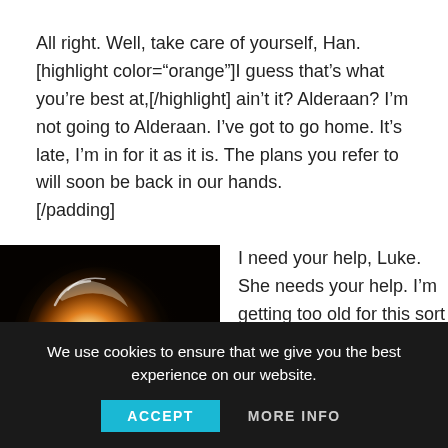All right. Well, take care of yourself, Han. [highlight color="orange"]I guess that's what you're best at,[/highlight] ain't it? Alderaan? I'm not going to Alderaan. I've got to go home. It's late, I'm in for it as it is. The plans you refer to will soon be back in our hands.
[/padding]
[Figure (photo): Close-up photo of a glowing orange/white spherical object (possibly a planet or lit sphere) against a dark background]
I need your help, Luke. She needs your help. I'm getting too old for this sort of thing.
We use cookies to ensure that we give you the best experience on our website.
ACCEPT    MORE INFO